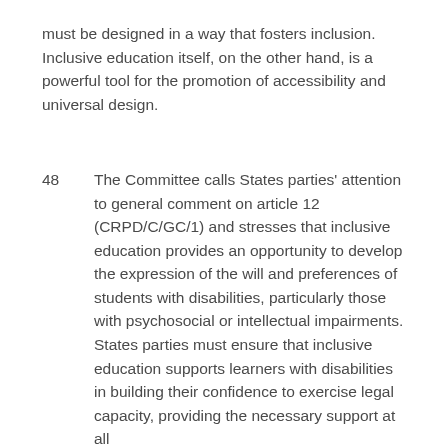must be designed in a way that fosters inclusion. Inclusive education itself, on the other hand, is a powerful tool for the promotion of accessibility and universal design.
48	The Committee calls States parties' attention to general comment on article 12 (CRPD/C/GC/1) and stresses that inclusive education provides an opportunity to develop the expression of the will and preferences of students with disabilities, particularly those with psychosocial or intellectual impairments. States parties must ensure that inclusive education supports learners with disabilities in building their confidence to exercise legal capacity, providing the necessary support at all